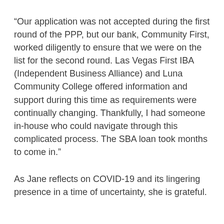“Our application was not accepted during the first round of the PPP, but our bank, Community First, worked diligently to ensure that we were on the list for the second round. Las Vegas First IBA (Independent Business Alliance) and Luna Community College offered information and support during this time as requirements were continually changing. Thankfully, I had someone in-house who could navigate through this complicated process. The SBA loan took months to come in.”
As Jane reflects on COVID-19 and its lingering presence in a time of uncertainty, she is grateful.